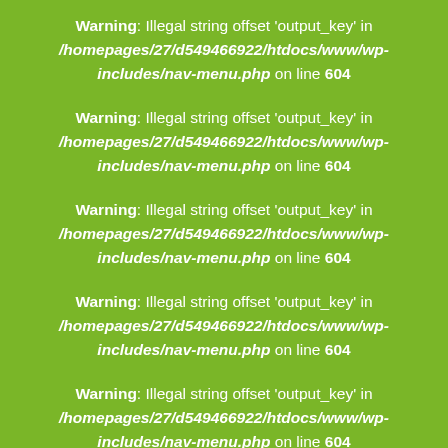Warning: Illegal string offset 'output_key' in /homepages/27/d549466922/htdocs/www/wp-includes/nav-menu.php on line 604
Warning: Illegal string offset 'output_key' in /homepages/27/d549466922/htdocs/www/wp-includes/nav-menu.php on line 604
Warning: Illegal string offset 'output_key' in /homepages/27/d549466922/htdocs/www/wp-includes/nav-menu.php on line 604
Warning: Illegal string offset 'output_key' in /homepages/27/d549466922/htdocs/www/wp-includes/nav-menu.php on line 604
Warning: Illegal string offset 'output_key' in /homepages/27/d549466922/htdocs/www/wp-includes/nav-menu.php on line 604